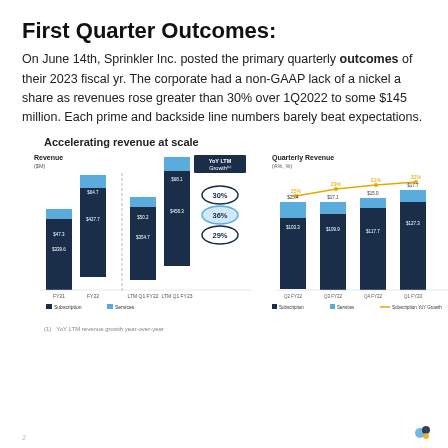First Quarter Outcomes:
On June 14th, Sprinkler Inc. posted the primary quarterly outcomes of their 2023 fiscal yr. The corporate had a non-GAAP lack of a nickel a share as revenues rose greater than 30% over 1Q2022 to some $145 million. Each prime and backside line numbers barely beat expectations.
Accelerating revenue at scale
[Figure (stacked-bar-chart): Revenue ($M)]
[Figure (stacked-bar-chart): Quarterly Revenue (A%, %)]
(1) YoY LTM revenue growth year-over-year